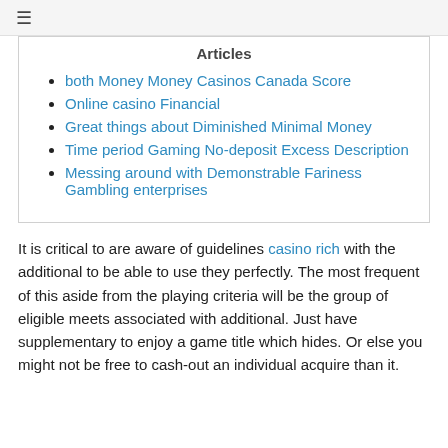≡
Articles
both Money Money Casinos Canada Score
Online casino Financial
Great things about Diminished Minimal Money
Time period Gaming No-deposit Excess Description
Messing around with Demonstrable Fariness Gambling enterprises
It is critical to are aware of guidelines casino rich with the additional to be able to use they perfectly. The most frequent of this aside from the playing criteria will be the group of eligible meets associated with additional. Just have supplementary to enjoy a game title which hides. Or else you might not be free to cash-out an individual acquire than it.